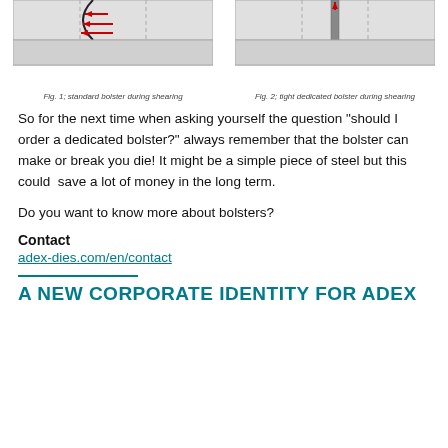[Figure (engineering-diagram): Two engineering diagrams side by side: Fig. 1 shows a standard bolster during shearing with red arrows pointing left indicating lateral forces; Fig. 2 shows a tight dedicated bolster during shearing with a vertical bar in the center.]
Fig. 1; standard bolster during shearing
Fig. 2; tight dedicated bolster during shearing
So for the next time when asking yourself the question “should I order a dedicated bolster?” always remember that the bolster can make or break you die! It might be a simple piece of steel but this could  save a lot of money in the long term.
Do you want to know more about bolsters?
Contact
adex-dies.com/en/contact
A NEW CORPORATE IDENTITY FOR ADEX